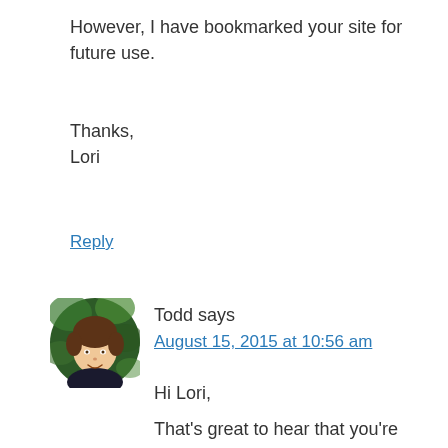However, I have bookmarked your site for future use.
Thanks,
Lori
Reply
[Figure (photo): Circular avatar photo of Todd, a man with short hair smiling, with a green leafy background.]
Todd says
August 15, 2015 at 10:56 am
Hi Lori,
That's great to hear that you're enjoying and getting value from Skip's training program on